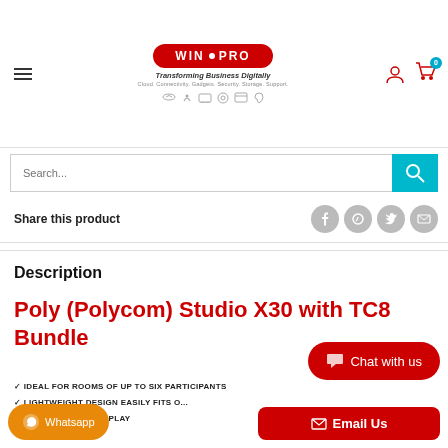[Figure (logo): WIN PRO logo - red oval with white text 'WIN PRO', tagline 'Transforming Business Digitally', subtitle 'Cloud. Connectivity. Gadgets. Security. Storage. Support.' with service icons]
Search...
Share this product
Description
Poly (Polycom) Studio X30 with TC8 Bundle
IDEAL FOR ROOMS OF UP TO SIX PARTICIPANTS
LIGHTWEIGHT DESIGN EASILY FITS ON/UNDERNEATH THE DISPLAY